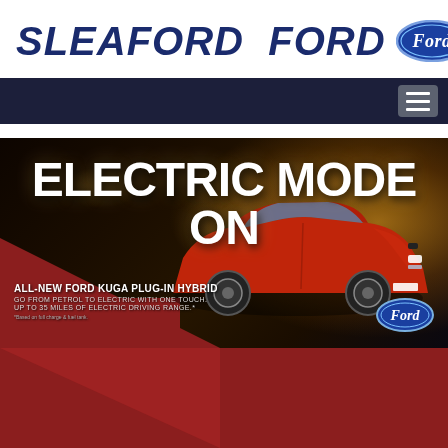[Figure (logo): Sleaford Ford dealership header logo with Ford oval badge in dark blue italic text on white background]
[Figure (screenshot): Dark navy navigation bar with hamburger menu icon on the right]
[Figure (photo): Ford Kuga Plug-In Hybrid advertisement banner showing a red Ford Kuga SUV driving at night with headline ELECTRIC MODE ON and text ALL-NEW FORD KUGA PLUG-IN HYBRID, GO FROM PETROL TO ELECTRIC WITH ONE TOUCH. UP TO 35 MILES OF ELECTRIC DRIVING RANGE.*]
[Figure (illustration): Dark red/maroon triangular diagonal graphic section at the bottom of the page]